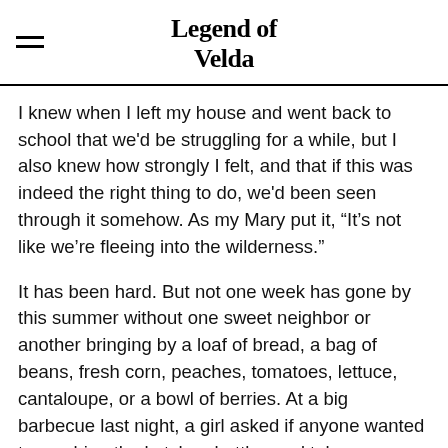Legend of Velda
I knew when I left my house and went back to school that we'd be struggling for a while, but I also knew how strongly I felt, and that if this was indeed the right thing to do, we'd been seen through it somehow. As my Mary put it, “It’s not like we’re fleeing into the wilderness.”
It has been hard. But not one week has gone by this summer without one sweet neighbor or another bringing by a loaf of bread, a bag of beans, fresh corn, peaches, tomatoes, lettuce, cantaloupe, or a bowl of berries. At a big barbecue last night, a girl asked if anyone wanted to combine the ketchup bottles and take one home. I did! So she